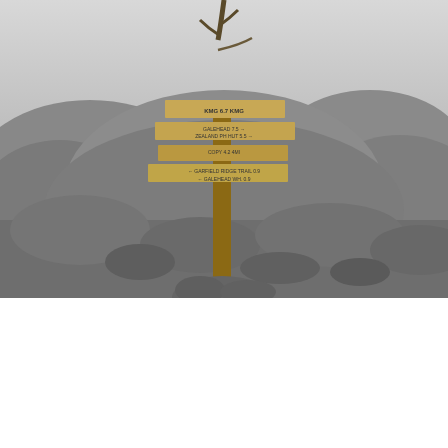[Figure (photo): Black and white photograph of a wooden trail signpost with multiple directional signs, mounted on rocky terrain. The signs point in various directions with trail names including references to Garfield Ridge Trail and Galehead. A dead tree branch rises above the sign. Rocky landscape fills the background under an overcast sky.]
ESSAYS / SAFETY
Ten Essentials for Hiking Safely: Solo Hiking